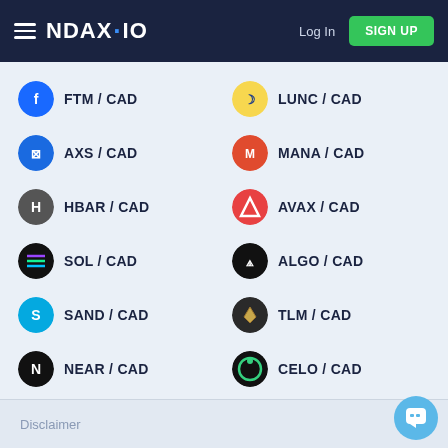NDAX.IO — Log In | SIGN UP
FTM / CAD
LUNC / CAD
AXS / CAD
MANA / CAD
HBAR / CAD
AVAX / CAD
SOL / CAD
ALGO / CAD
SAND / CAD
TLM / CAD
NEAR / CAD
CELO / CAD
VET / CAD
GALA / CAD
RUNE / CAD
Disclaimer